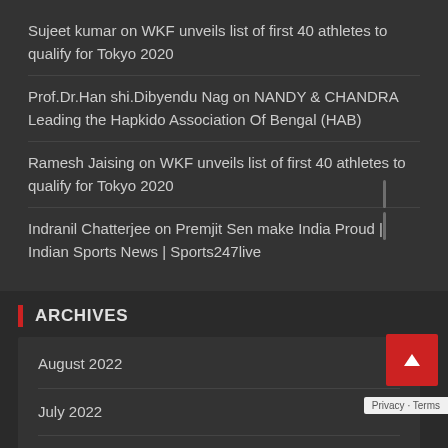Sujeet kumar on WKF unveils list of first 40 athletes to qualify for Tokyo 2020
Prof.Dr.Han shi.Dibyendu Nag on NANDY & CHANDRA Leading the Hapkido Association Of Bengal (HAB)
Ramesh Jaising on WKF unveils list of first 40 athletes to qualify for Tokyo 2020
Indranil Chatterjee on Premjit Sen make India Proud | Indian Sports News | Sports247live
ARCHIVES
August 2022
July 2022
June 2022
December 2021